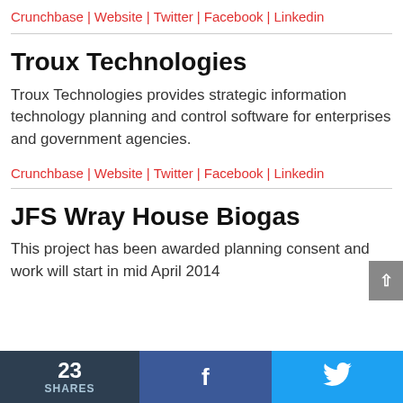Crunchbase | Website | Twitter | Facebook | Linkedin
Troux Technologies
Troux Technologies provides strategic information technology planning and control software for enterprises and government agencies.
Crunchbase | Website | Twitter | Facebook | Linkedin
JFS Wray House Biogas
This project has been awarded planning consent and work will start in mid April 2014
23 SHARES | f | Twitter bird